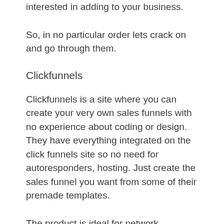interested in adding to your business.
So, in no particular order lets crack on and go through them.
Clickfunnels
Clickfunnels is a site where you can create your very own sales funnels with no experience about coding or design. They have everything integrated on the click funnels site so no need for autoresponders, hosting. Just create the sales funnel you want from some of their premade templates.
The product is ideal for network marketers